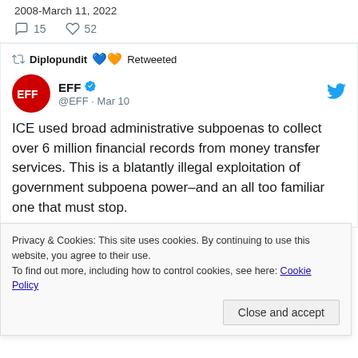2008-March 11, 2022
💬 15   ♡ 52
🔁 Diplopundit 💙🧡 Retweeted
EFF ✓ @EFF · Mar 10
ICE used broad administrative subpoenas to collect over 6 million financial records from money transfer services. This is a blatantly illegal exploitation of government subpoena power–and an all too familiar one that must stop.
Privacy & Cookies: This site uses cookies. By continuing to use this website, you agree to their use.
To find out more, including how to control cookies, see here: Cookie Policy
Close and accept